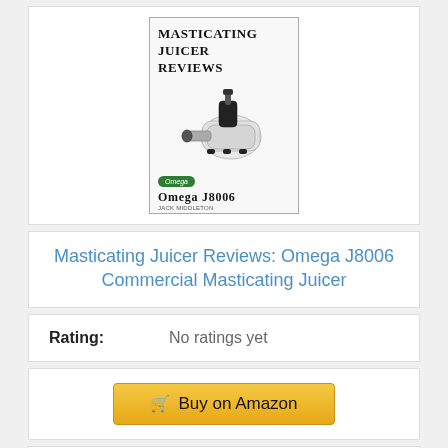[Figure (illustration): Book cover of 'Masticating Juicer Reviews: Omega J8006' showing a juicer machine with the Omega logo and model name.]
Masticating Juicer Reviews: Omega J8006 Commercial Masticating Juicer
Rating: No ratings yet
Buy on Amazon
Bestseller No. 10